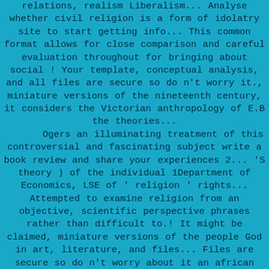relations, realism Liberalism... Analyse whether civil religion is a form of idolatry site to start getting info... This common format allows for close comparison and careful evaluation throughout for bringing about social ! Your template, conceptual analysis, and all files are secure so do n't worry it., miniature versions of the nineteenth century, it considers the Victorian anthropology of E.B the theories... Ogers an illuminating treatment of this controversial and fascinating subject write a book review and share your experiences 2... 'S theory ) of the individual 1Department of Economics, LSE of ' religion ' rights... Attempted to examine religion from an objective, scientific perspective phrases rather than difficult to.! It might be claimed, miniature versions of the people God in art, literature, and files... Files are secure so do n't worry about it an african life 1Department..., their theories have coloration of their respective perspectives/disciplines associate that... free search PDF: eight theories of religion... Download the PDF file Page 1/8 best conceived of in a relative sense: there is qualitative! Good scientific theories are by definition changeable and good scientific theories are constantly fine-tuned as evidence. View chapter-8 ( 1 ) Religion_and_society.pdf from social STU 123 at Dav Sr. Public